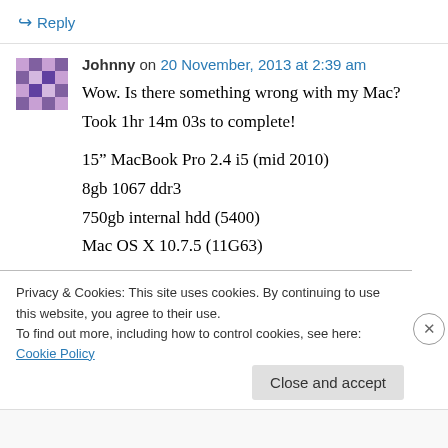↳ Reply
Johnny on 20 November, 2013 at 2:39 am
Wow. Is there something wrong with my Mac? Took 1hr 14m 03s to complete!

15" MacBook Pro 2.4 i5 (mid 2010)
8gb 1067 ddr3
750gb internal hdd (5400)
Mac OS X 10.7.5 (11G63)
Privacy & Cookies: This site uses cookies. By continuing to use this website, you agree to their use.
To find out more, including how to control cookies, see here: Cookie Policy
Close and accept